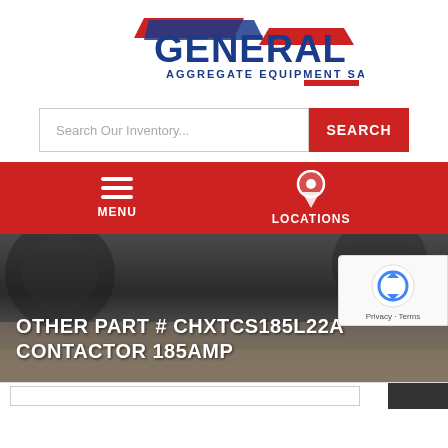[Figure (logo): General Aggregate Equipment Sales logo with blue text and red/blue swoosh graphic]
[Figure (screenshot): Search bar with placeholder text 'Search Our Inventory...' and red SEARCH button]
[Figure (screenshot): Red navigation bar with hamburger MENU icon on left and map pin LOCATIONS icon on right]
OTHER PART # CHXTCS185L22A CONTACTOR 185AMP
[Figure (photo): Dark hero image showing industrial aggregate equipment machinery on dirt/gravel ground]